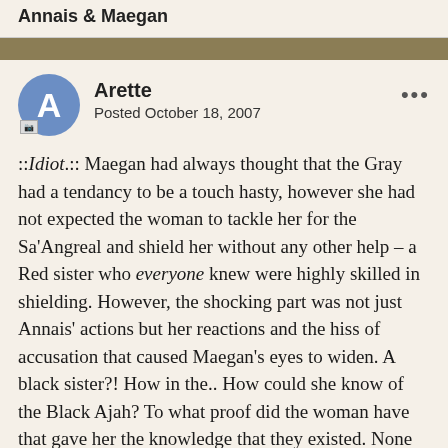Annais & Maegan
Arette
Posted October 18, 2007
::Idiot.:: Maegan had always thought that the Gray had a tendancy to be a touch hasty, however she had not expected the woman to tackle her for the Sa'Angreal and shield her without any other help - a Red sister who everyone knew were highly skilled in shielding. However, the shocking part was not just Annais' actions but her reactions and the hiss of accusation that caused Maegan's eyes to widen. A black sister?! How in the.. How could she know of the Black Ajah? To what proof did the woman have that gave her the knowledge that they existed. None save herself knew of their existance within the Tower, and the very Black